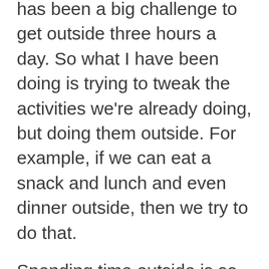has been a big challenge to get outside three hours a day. So what I have been doing is trying to tweak the activities we're already doing, but doing them outside. For example, if we can eat a snack and lunch and even dinner outside, then we try to do that.
Spending time outside is so good for us, and this is something I've seen so clearly with my kids. If they are having a crazy day and they just need to get some energy out, sending them outside just changes everything. Or if they have a day outside where they're spending four or five hours outside, they're just in the best moods.  I think this is something we've lost as adults, mostly